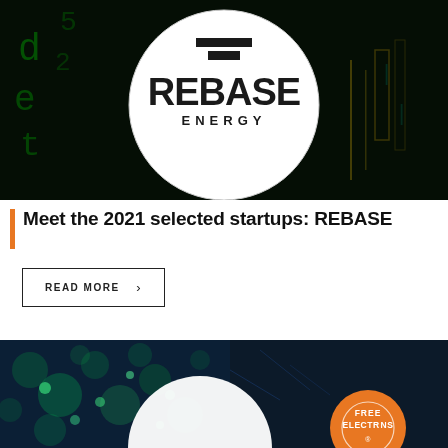[Figure (photo): Dark background image with green matrix-style code characters and a white circle containing the REBASE ENERGY logo (two horizontal bars above the text REBASE in bold, ENERGY in spaced caps below).]
Meet the 2021 selected startups: REBASE
READ MORE >
[Figure (photo): Dark teal/blue background with blurred green bokeh light circles, partially visible white circular logo area, and an orange circular badge in the lower right with text FREE ELECTRONS.]